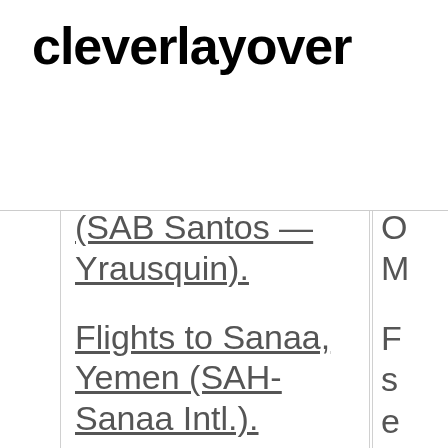cleverlayover
(SAB Santos - Yrausquin).
Flights to Sanaa, Yemen (SAH-Sanaa Intl.).